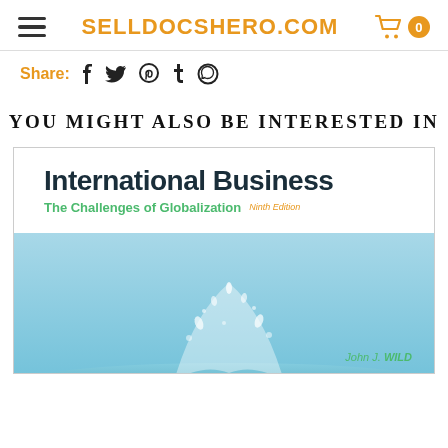SELLDOCSHERO.COM
Share: f ♥ ⊕ t ©
YOU MIGHT ALSO BE INTERESTED IN
[Figure (illustration): Book cover for 'International Business: The Challenges of Globalization, Ninth Edition' by John J. Wild, featuring a water splash image on a teal background.]